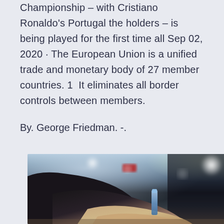Championship – with Cristiano Ronaldo's Portugal the holders – is being played for the first time all Sep 02, 2020 · The European Union is a unified trade and monetary body of 27 member countries. 1  It eliminates all border controls between members.
By. George Friedman. -.
[Figure (photo): Close-up photo of a person's hands on a surface, with blurred background showing bokeh lights, a blue bottle, and dark surroundings. The person is wearing a dark shirt.]